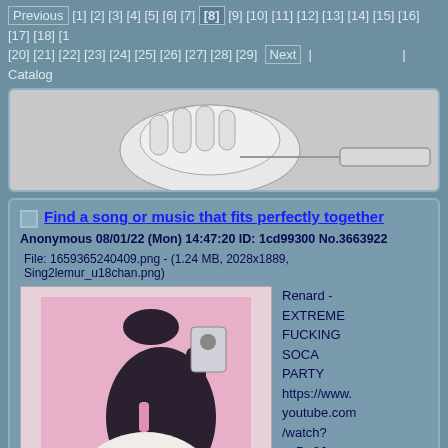Previous [1] [2] [3] [4] [5] [6] [7] [8] [9] [10] [11] [12] [13] [14] [15] [16] [17] [18] [1 [20] [21] [22] [23] [24] [25] [26] [27] [28] [29] Next | | Catalog
[Figure (illustration): Partial sketch illustration at top of page, showing a hand and a pan.]
Find a song or music that fits perfectly together
Anonymous 08/01/22 (Mon) 14:47:20 ID: 1cd99300 No.3663922
File: 1659365240409.png - (1.24 MB, 2028x1889, Sing2lemur_u18chan.png)
[Figure (illustration): Cartoon illustration of a lemur-like animal character with large yellow eyes, pink and black bodysuit, holding an ID badge, lying on a pink background with a red can nearby.]
Renard - EXTREME FUCKING SOCA PARTY https://www.youtube.com/watch?v=Do8Jvrogj_I

gabriel dancing but with the full song